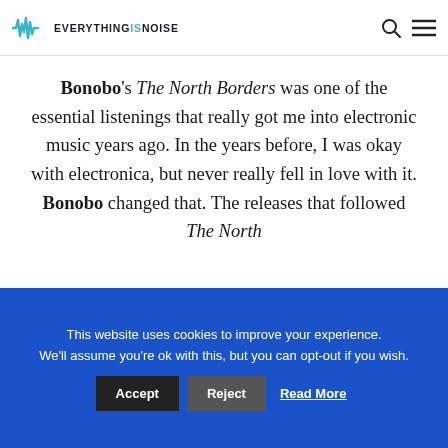EVERYTHINGSNOISE
Bonobo's The North Borders was one of the essential listenings that really got me into electronic music years ago. In the years before, I was okay with electronica, but never really fell in love with it. Bonobo changed that. The releases that followed The North
This website uses cookies to improve your experience. We'll assume you're ok with this, but you can opt-out if you wish. Accept Reject Read More